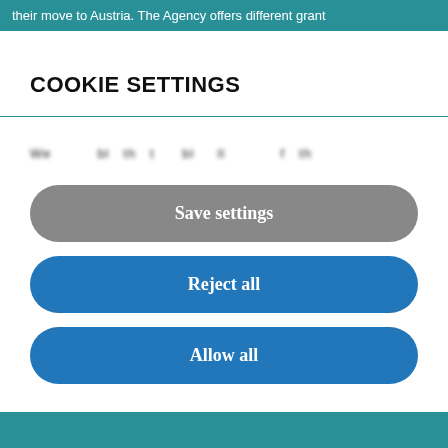their move to Austria. The Agency offers different grant
COOKIE SETTINGS
We ... bl... th... t... bl... ll... f... th...
[Figure (screenshot): Save settings button - large rounded grey button]
[Figure (screenshot): Reject all button - large rounded blue button]
[Figure (screenshot): Allow all button - large rounded blue button]